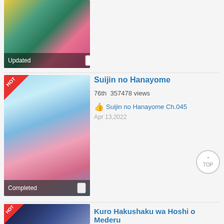[Figure (illustration): Manga cover art partial view - colorful anime-style illustration with Updated badge and bookmark icon at bottom]
[Figure (illustration): Manga cover art for Suijin no Hanayome - shows anime girl with pink hair and white-haired figure on blue background, HOT badge top-left, Completed badge at bottom]
Suijin no Hanayome
76th  357478 views
👍 Suijin no Hanayome Ch.045
Apr 13,2022
[Figure (illustration): Manga cover art partial for Kuro Hakushaku wa Hoshi o Mederu - dark blue/space themed, HOT badge top-left]
Kuro Hakushaku wa Hoshi o Mederu